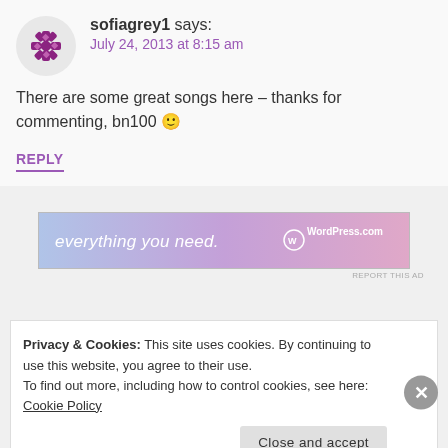sofiagrey1 says:
July 24, 2013 at 8:15 am
There are some great songs here – thanks for commenting, bn100 🙂
REPLY
[Figure (other): WordPress.com advertisement banner with text 'everything you need.' and WordPress.com logo on a purple-to-pink gradient background]
REPORT THIS AD
Privacy & Cookies: This site uses cookies. By continuing to use this website, you agree to their use.
To find out more, including how to control cookies, see here: Cookie Policy
Close and accept